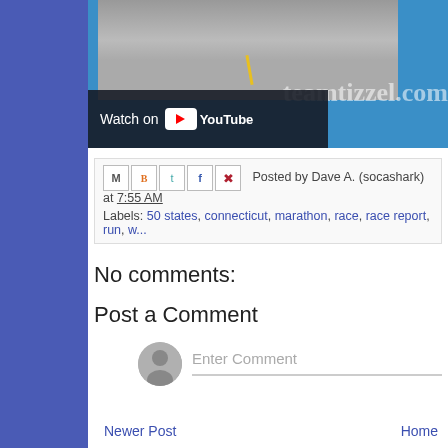[Figure (screenshot): YouTube video embed showing a runner on a wet road with 'Watch on YouTube' overlay and teamtizzel.com domain watermark]
Posted by Dave A. (socashark) at 7:55 AM
Labels: 50 states, connecticut, marathon, race, race report, run, w...
No comments:
Post a Comment
Enter Comment
Newer Post | Home